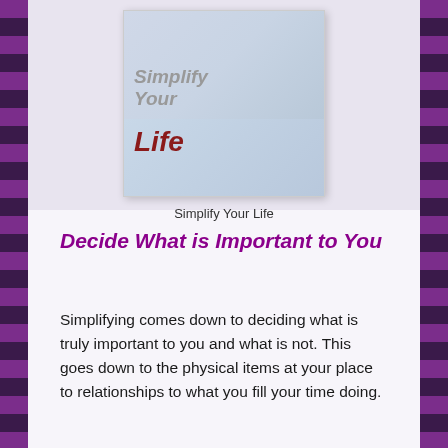[Figure (illustration): Book cover image showing 'Simplify Your Life' title in italic text. The upper portion shows a faded grey background with stylized figures. The lower portion shows a light blue band with the word 'Life' in dark red bold italic. The cover is displayed as a small inset panel with a white background and drop shadow.]
Simplify Your Life
Decide What is Important to You
Simplifying comes down to deciding what is truly important to you and what is not. This goes down to the physical items at your place to relationships to what you fill your time doing.